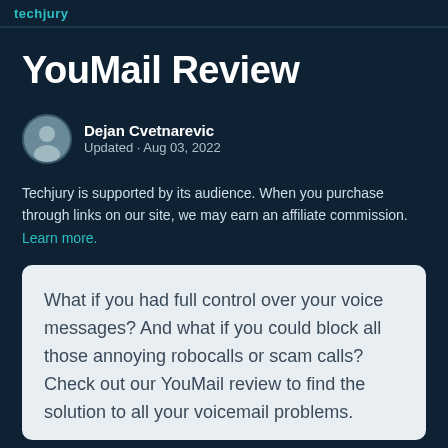techjury
YouMail Review
Dejan Cvetnarevic
Updated · Aug 03, 2022
Techjury is supported by its audience. When you purchase through links on our site, we may earn an affiliate commission. Learn more.
What if you had full control over your voice messages? And what if you could block all those annoying robocalls or scam calls? Check out our YouMail review to find the solution to all your voicemail problems.